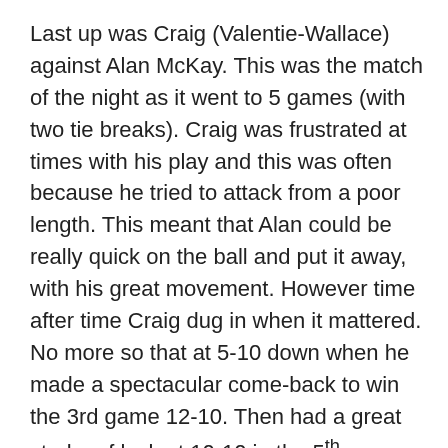Last up was Craig (Valentie-Wallace) against Alan McKay. This was the match of the night as it went to 5 games (with two tie breaks). Craig was frustrated at times with his play and this was often because he tried to attack from a poor length. This meant that Alan could be really quick on the ball and put it away, with his great movement. However time after time Craig dug in when it mattered. No more so that at 5-10 down when he made a spectacular come-back to win the 3rd game 12-10. Then had a great stroke of luck at 10-10 in the 5th game when he hit Alan with a ball down the middle (after it hit the front wall, that is). This match could have gone either way, but for me it was Craig's to lose and he didn't!! 3-2 win.
So maximum points for the first time this season and a delighted team. Mind you we play Giffnock 1 next week, so